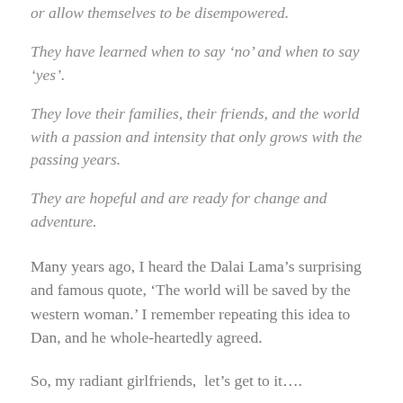or allow themselves to be disempowered.
They have learned when to say ‘no’ and when to say ‘yes’.
They love their families, their friends, and the world with a passion and intensity that only grows with the passing years.
They are hopeful and are ready for change and adventure.
Many years ago, I heard the Dalai Lama’s surprising and famous quote, ‘The world will be saved by the western woman.’ I remember repeating this idea to Dan, and he whole-heartedly agreed.
So, my radiant girlfriends,  let’s get to it….